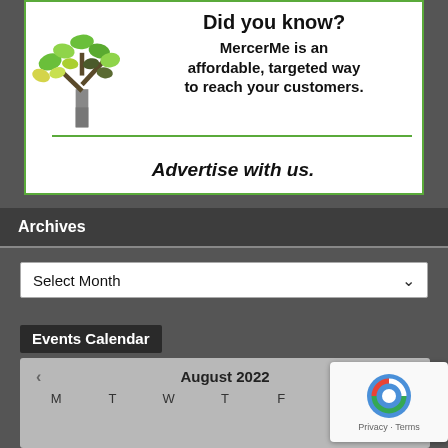[Figure (illustration): MercerMe advertisement banner with tree logo, text 'Did you know? MercerMe is an affordable, targeted way to reach your customers.' with green divider line and 'Advertise with us.' in italic]
Archives
Select Month
Events Calendar
| M | T | W | T | F | S | S |
| --- | --- | --- | --- | --- | --- | --- |